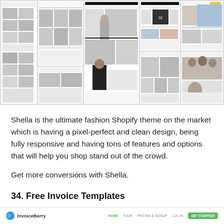[Figure (screenshot): A collage of multiple fashion e-commerce website screenshots showing product grids, clothing images, and website UI layouts in light/minimal style.]
Shella is the ultimate fashion Shopify theme on the market which is having a pixel-perfect and clean design, being fully responsive and having tons of features and options that will help you shop stand out of the crowd.
Get more conversions with Shella.
34. Free Invoice Templates
[Figure (screenshot): InvoiceBerry website navigation bar showing logo, HOME, TOUR, PRICING & SIGNUP, LOG IN, and GET STARTED button.]